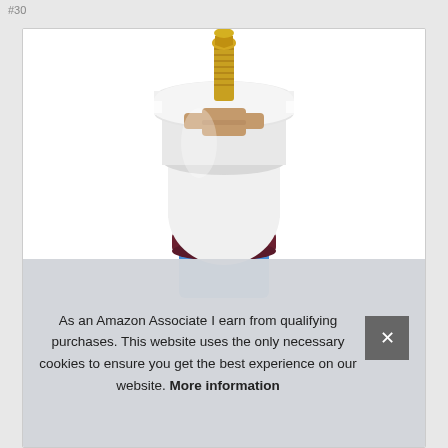#30
[Figure (photo): A white ceramic faucet cartridge valve with a gold/brass threaded stem on top, a beige/tan cross-shaped plastic piece in the middle, and a dark maroon rubber gasket ring near the bottom, followed by a blue body section. White background.]
As an Amazon Associate I earn from qualifying purchases. This website uses the only necessary cookies to ensure you get the best experience on our website. More information